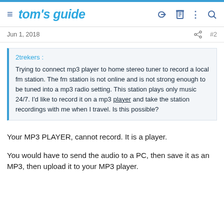tom's guide
Jun 1, 2018   #2
2trekers :
Trying to connect mp3 player to home stereo tuner to record a local fm station. The fm station is not online and is not strong enough to be tuned into a mp3 radio setting. This station plays only music 24/7. I'd like to record it on a mp3 player and take the station recordings with me when I travel. Is this possible?
Your MP3 PLAYER, cannot record. It is a player.
You would have to send the audio to a PC, then save it as an MP3, then upload it to your MP3 player.